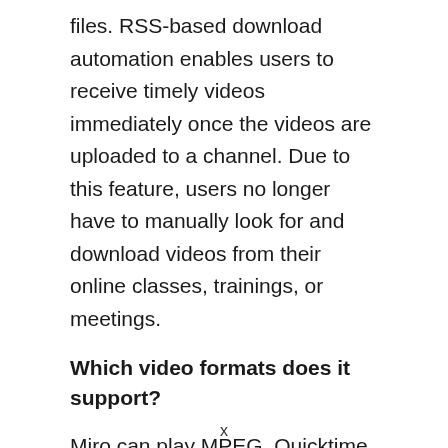files. RSS-based download automation enables users to receive timely videos immediately once the videos are uploaded to a channel. Due to this feature, users no longer have to manually look for and download videos from their online classes, trainings, or meetings.
Which video formats does it support?
Miro can play MPEG, Quicktime, AVI, H.\264, DivX, Windows Media, Flash Video, and more.
x